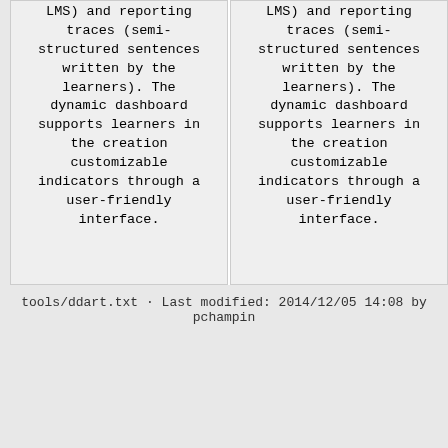LMS) and reporting traces (semi-structured sentences written by the learners). The dynamic dashboard supports learners in the creation customizable indicators through a user-friendly interface.
LMS) and reporting traces (semi-structured sentences written by the learners). The dynamic dashboard supports learners in the creation customizable indicators through a user-friendly interface.
tools/ddart.txt · Last modified: 2014/12/05 14:08 by pchampin